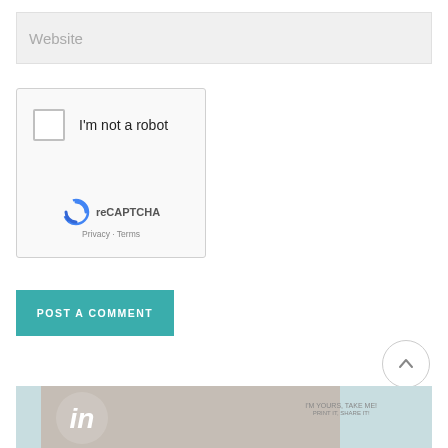Website
[Figure (screenshot): reCAPTCHA widget with checkbox labeled 'I'm not a robot', Google reCAPTCHA logo, Privacy and Terms links]
POST A COMMENT
[Figure (illustration): Scroll-to-top button (circle with upward arrow)]
[Figure (photo): Bottom image strip showing a business card with 'in' logo on fabric/linen background and text 'I'M YOURS, TAKE ME!']